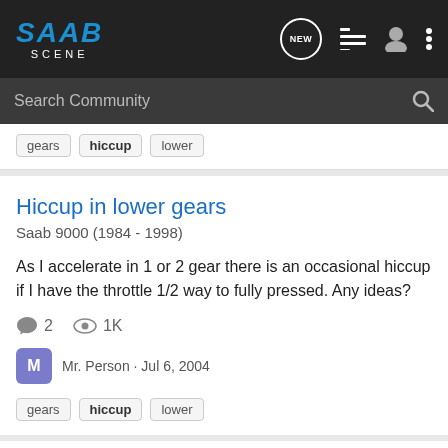SAAB SCENE
Search Community
gears hiccup lower
Hiccup in lower gears
Saab 9000 (1984 - 1998)
As I accelerate in 1 or 2 gear there is an occasional hiccup if I have the throttle 1/2 way to fully pressed. Any ideas?
2   1K
Mr. Person · Jul 6, 2004
gears hiccup lower
And now, how to cure the "hiccup" at high boost?
Saab 9000 (1984 - 1998)